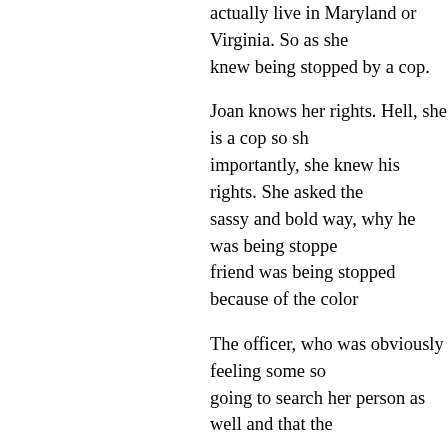actually live in Maryland or Virginia. So as she knew being stopped by a cop.
Joan knows her rights. Hell, she is a cop so sh importantly, she knew his rights. She asked the sassy and bold way, why he was being stoppe friend was being stopped because of the color
The officer, who was obviously feeling some so going to search her person as well and that the
Now, the handy dandy fourth amendment was That's when Joan went to go get her badge to was way out of line. When she got back, her fri down by the cop.
So my bada$$ friend flashed her badge and go
Protecting our fourth amendment, however, do
It wasn't too long later that she found that sam day, and filing a complaint against her. She wa Joan went on to talk about just the kinds of cor old job.